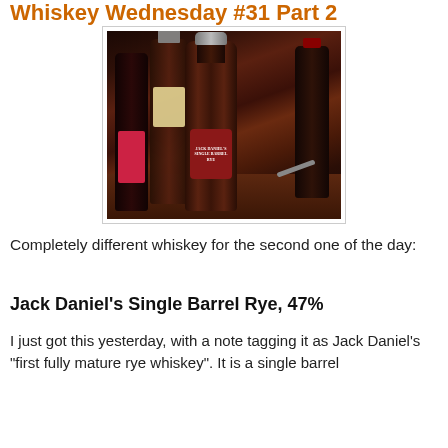Whiskey Wednesday #31 Part 2
[Figure (photo): Photo of Jack Daniel's Single Barrel Rye bottle in foreground on a wooden table, surrounded by other whiskey bottles including a dark bottle with pink label on the left and a bottle with a cream label in the center background]
Completely different whiskey for the second one of the day:
Jack Daniel's Single Barrel Rye, 47%
I just got this yesterday, with a note tagging it as Jack Daniel's "first fully mature rye whiskey". It is a single barrel